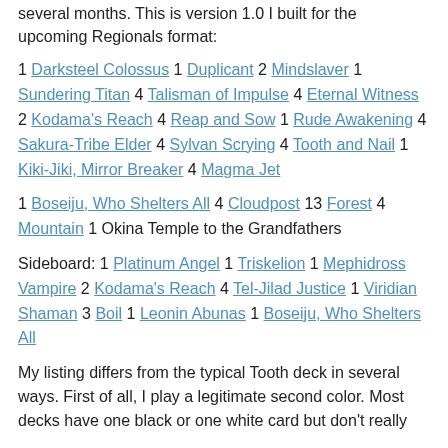several months. This is version 1.0 I built for the upcoming Regionals format:
1 Darksteel Colossus 1 Duplicant 2 Mindslaver 1 Sundering Titan 4 Talisman of Impulse 4 Eternal Witness 2 Kodama's Reach 4 Reap and Sow 1 Rude Awakening 4 Sakura-Tribe Elder 4 Sylvan Scrying 4 Tooth and Nail 1 Kiki-Jiki, Mirror Breaker 4 Magma Jet
1 Boseiju, Who Shelters All 4 Cloudpost 13 Forest 4 Mountain 1 Okina Temple to the Grandfathers
Sideboard: 1 Platinum Angel 1 Triskelion 1 Mephidross Vampire 2 Kodama's Reach 4 Tel-Jilad Justice 1 Viridian Shaman 3 Boil 1 Leonin Abunas 1 Boseiju, Who Shelters All
My listing differs from the typical Tooth deck in several ways. First of all, I play a legitimate second color. Most decks have one black or one white card but don't really...